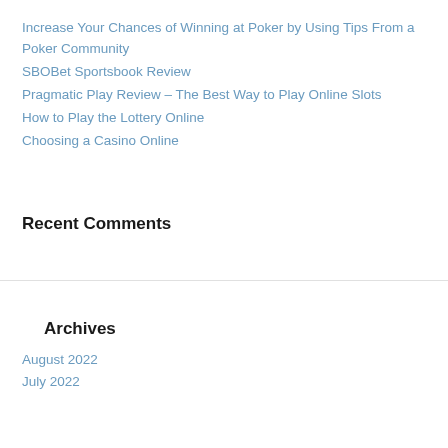Increase Your Chances of Winning at Poker by Using Tips From a Poker Community
SBOBet Sportsbook Review
Pragmatic Play Review – The Best Way to Play Online Slots
How to Play the Lottery Online
Choosing a Casino Online
Recent Comments
Archives
August 2022
July 2022